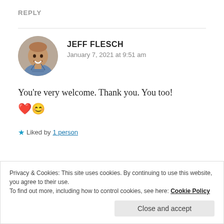REPLY
[Figure (photo): Circular profile photo of Jeff Flesch, a smiling bald man wearing a blue checked shirt]
JEFF FLESCH
January 7, 2021 at 9:51 am
You're very welcome. Thank you. You too! ❤️😊
★ Liked by 1 person
Privacy & Cookies: This site uses cookies. By continuing to use this website, you agree to their use.
To find out more, including how to control cookies, see here: Cookie Policy
Close and accept